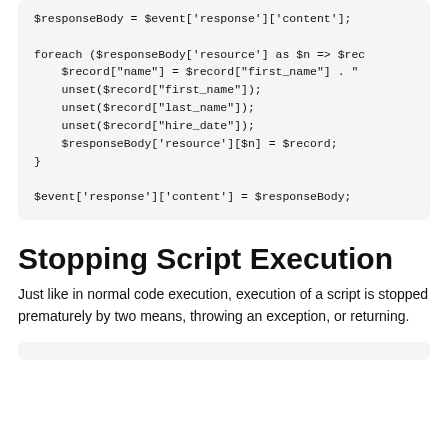$responseBody = $event['response']['content'];

foreach ($responseBody['resource'] as $n => $rec
    $record["name"] = $record["first_name"] . "
    unset($record["first_name"]);
    unset($record["last_name"]);
    unset($record["hire_date"]);
    $responseBody['resource'][$n] = $record;
}

$event['response']['content'] = $responseBody;
Stopping Script Execution
Just like in normal code execution, execution of a script is stopped prematurely by two means, throwing an exception, or returning.